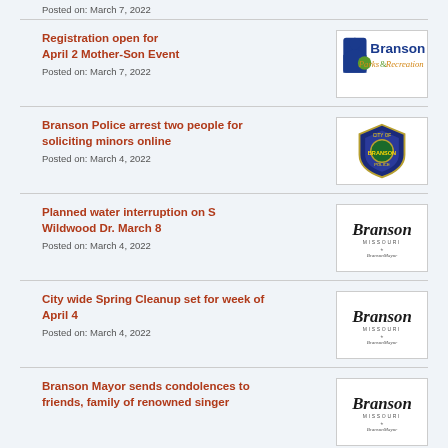Posted on: March 7, 2022
Registration open for April 2 Mother-Son Event
Posted on: March 7, 2022
[Figure (logo): Branson Parks & Recreation logo with blue and green design]
Branson Police arrest two people for soliciting minors online
Posted on: March 4, 2022
[Figure (logo): Branson Police badge logo]
Planned water interruption on S Wildwood Dr. March 8
Posted on: March 4, 2022
[Figure (logo): Branson Missouri city logo]
City wide Spring Cleanup set for week of April 4
Posted on: March 4, 2022
[Figure (logo): Branson Missouri city logo]
Branson Mayor sends condolences to friends, family of renowned singer